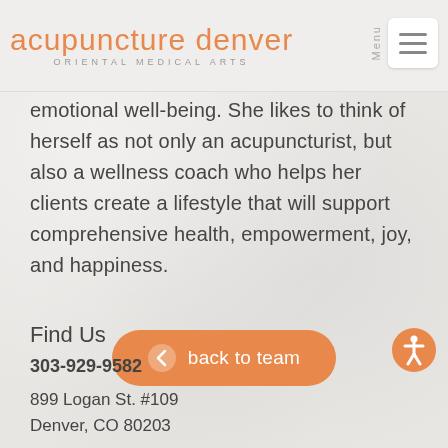acupuncture denver ORIENTAL MEDICAL ARTS
emotional well-being. She likes to think of herself as not only an acupuncturist, but also a wellness coach who helps her clients create a lifestyle that will support comprehensive health, empowerment, joy, and happiness.
[Figure (other): Orange pill-shaped button with left chevron icon and text 'back to team']
[Figure (other): Orange circular accessibility icon showing a person figure]
Find Us
303-929-9582
899 Logan St. #109
Denver, CO 80203